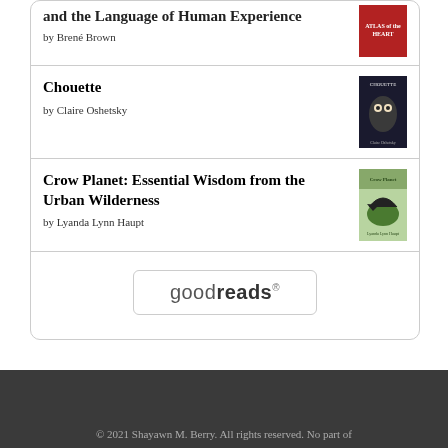and the Language of Human Experience by Brené Brown
Chouette by Claire Oshetsky
Crow Planet: Essential Wisdom from the Urban Wilderness by Lyanda Lynn Haupt
[Figure (logo): goodreads logo button with rounded rectangle border]
© 2021 Shayawn M. Berry. All rights reserved. No part of